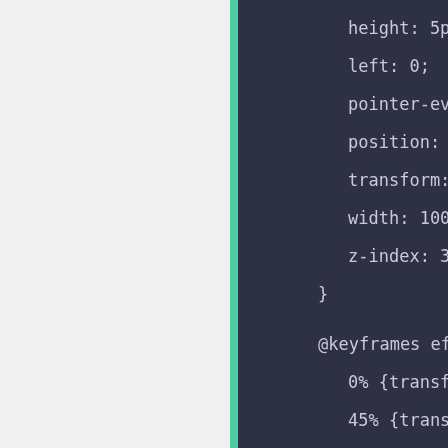height: 5px;
left: 0;
pointer-events: none;
position: absolute;
transform: scaleX(0);
width: 100%;
z-index: 3;
}
@keyframes effect-13 {
0%  {transform: scaleX(0);height: 5px;}
45%  {transform: scaleX(1.05);height: 5
55%  {height: 5px;}